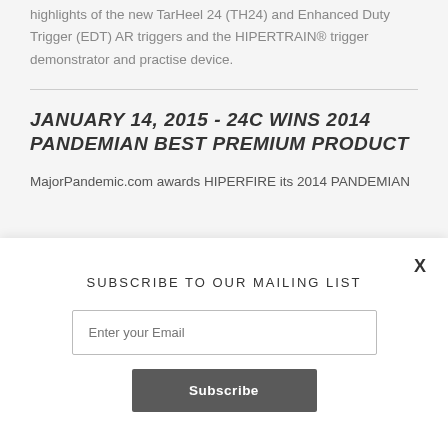highlights of the new TarHeel 24 (TH24) and Enhanced Duty Trigger (EDT) AR triggers and the HIPERTRAIN® trigger demonstrator and practise device.
JANUARY 14, 2015 - 24C WINS 2014 PANDEMIAN BEST PREMIUM PRODUCT
MajorPandemic.com awards HIPERFIRE its 2014 PANDEMIAN
SUBSCRIBE TO OUR MAILING LIST
Enter your Email
Subscribe